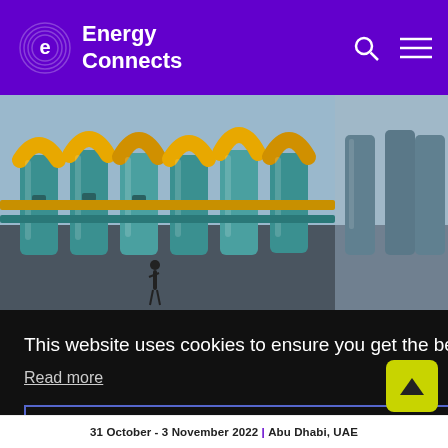Energy Connects
[Figure (photo): Industrial gas pipeline infrastructure with yellow and teal pipes, photographed at dusk/dawn]
[Figure (photo): Partially visible second article image, appears to be gas or energy related]
The dash for gas fuels risks for European utilities and slows energy
Uniper ho Europe's g
18, 2022
This website uses cookies to ensure you get the best experience on our website. Read more
Got it
31 October - 3 November 2022 | Abu Dhabi, UAE